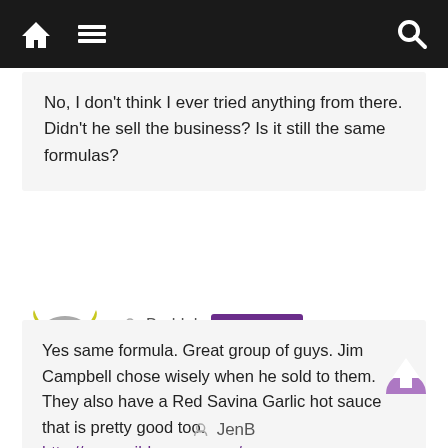Navigation bar with home, menu, and search icons
No, I don’t think I ever tried anything from there. Didn’t he sell the business? Is it still the same formulas?
Buddah Post author
April 7, 2012 at 11:55 pm
Permalink
Yes same formula. Great group of guys. Jim Campbell chose wisely when he sold to them. They also have a Red Savina Garlic hot sauce that is pretty good too. http://www.wildpepper.com/
JenB